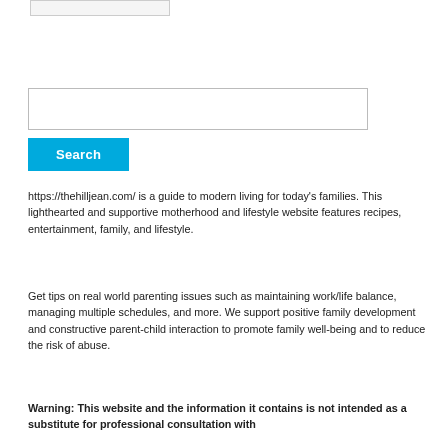[Figure (screenshot): Partial search input box at top of page]
[Figure (screenshot): Search input field (text box) and Search button]
https://thehilljean.com/ is a guide to modern living for today's families. This lighthearted and supportive motherhood and lifestyle website features recipes, entertainment, family, and lifestyle.
Get tips on real world parenting issues such as maintaining work/life balance, managing multiple schedules, and more. We support positive family development and constructive parent-child interaction to promote family well-being and to reduce the risk of abuse.
Warning: This website and the information it contains is not intended as a substitute for professional consultation with